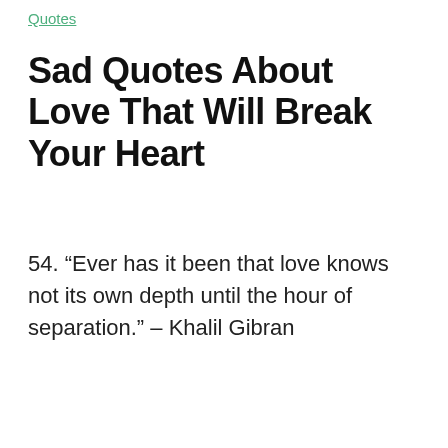Quotes
Sad Quotes About Love That Will Break Your Heart
54. “Ever has it been that love knows not its own depth until the hour of separation.” – Khalil Gibran